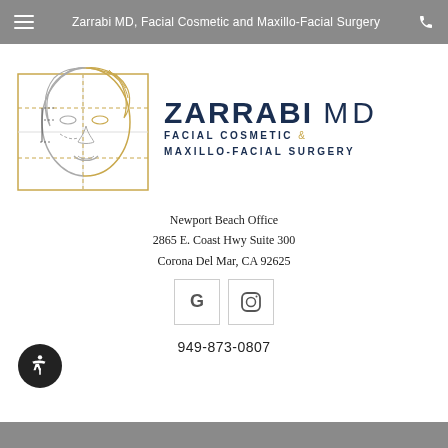Zarrabi MD, Facial Cosmetic and Maxillo-Facial Surgery
[Figure (logo): Zarrabi MD facial cosmetic surgery logo with illustrated face divided into grid quadrants, line art style in gold and gray]
ZARRABI MD FACIAL COSMETIC & MAXILLO-FACIAL SURGERY
Newport Beach Office
2865 E. Coast Hwy Suite 300
Corona Del Mar, CA 92625
[Figure (logo): Google 'G' icon social link button]
[Figure (logo): Instagram camera icon social link button]
949-873-0807